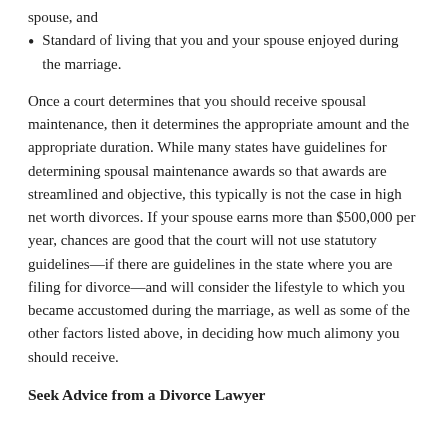spouse, and
Standard of living that you and your spouse enjoyed during the marriage.
Once a court determines that you should receive spousal maintenance, then it determines the appropriate amount and the appropriate duration. While many states have guidelines for determining spousal maintenance awards so that awards are streamlined and objective, this typically is not the case in high net worth divorces. If your spouse earns more than $500,000 per year, chances are good that the court will not use statutory guidelines—if there are guidelines in the state where you are filing for divorce—and will consider the lifestyle to which you became accustomed during the marriage, as well as some of the other factors listed above, in deciding how much alimony you should receive.
Seek Advice from a Divorce Lawyer